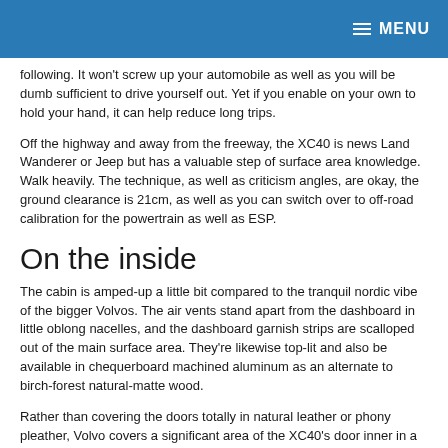MENU
following. It won't screw up your automobile as well as you will be dumb sufficient to drive yourself out. Yet if you enable on your own to hold your hand, it can help reduce long trips.
Off the highway and away from the freeway, the XC40 is news Land Wanderer or Jeep but has a valuable step of surface area knowledge. Walk heavily. The technique, as well as criticism angles, are okay, the ground clearance is 21cm, as well as you can switch over to off-road calibration for the powertrain as well as ESP.
On the inside
The cabin is amped-up a little bit compared to the tranquil nordic vibe of the bigger Volvos. The air vents stand apart from the dashboard in little oblong nacelles, and the dashboard garnish strips are scalloped out of the main surface area. They're likewise top-lit and also be available in chequerboard machined aluminum as an alternate to birch-forest natural-matte wood.
Rather than covering the doors totally in natural leather or phony pleather, Volvo covers a significant area of the XC40's door inner in a fuzzy material color-matched to the carpeting. Refreshingly bold or